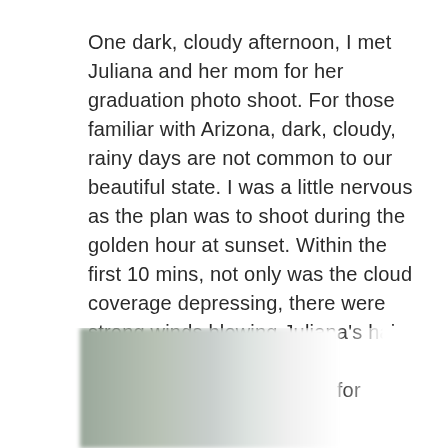One dark, cloudy afternoon, I met Juliana and her mom for her graduation photo shoot. For those familiar with Arizona, dark, cloudy, rainy days are not common to our beautiful state. I was a little nervous as the plan was to shoot during the golden hour at sunset. Within the first 10 mins, not only was the cloud coverage depressing, there were strong winds blowing Juliana's hair, graduation gown and sash everywhere! (Sorry Juliana for posting these!)
[Figure (photo): Blurred outdoor photo, partially visible at the bottom of the page, showing a blurry scene with muted greens and grays suggesting an outdoor environment on a cloudy day.]